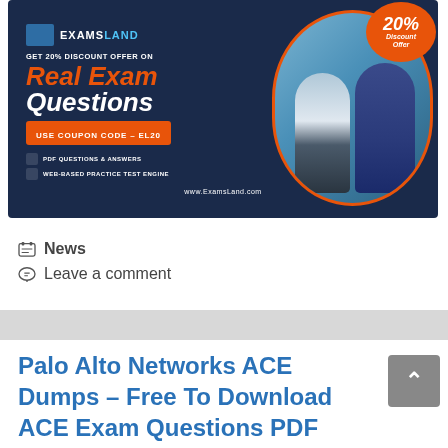[Figure (illustration): ExamsLand promotional banner advertising 20% discount on Real Exam Questions with coupon code EL20, featuring PDF Q&A and web-based practice test engine, with photo of two people]
News
Leave a comment
Palo Alto Networks ACE Dumps – Free To Download ACE Exam Questions PDF